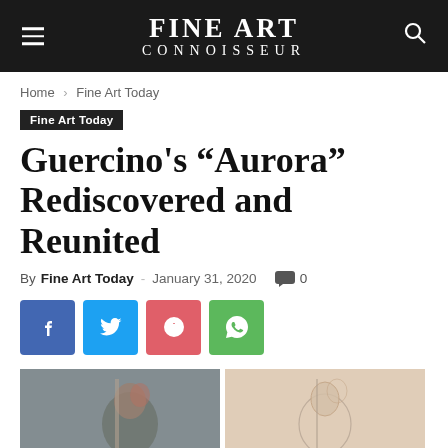FINE ART CONNOISSEUR
Home › Fine Art Today
Fine Art Today
Guercino's "Aurora" Rediscovered and Reunited
By Fine Art Today - January 31, 2020  0
[Figure (photo): Two side-by-side images: left shows an oil painting of Aurora figure (Guercino), right shows a sketch/drawing of the same figure]